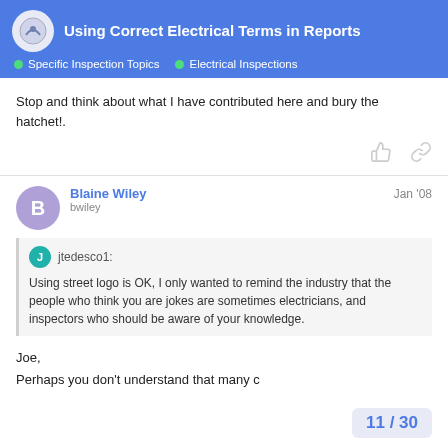Using Correct Electrical Terms in Reports | Specific Inspection Topics | Electrical Inspections
Stop and think about what I have contributed here and bury the hatchet!.
Blaine Wiley
bwiley
Jan '08
jtedesco1:
Using street logo is OK, I only wanted to remind the industry that the people who think you are jokes are sometimes electricians, and inspectors who should be aware of your knowledge.
Joe,
Perhaps you don't understand that many c
11 / 30